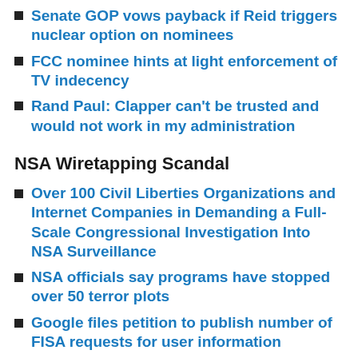Senate GOP vows payback if Reid triggers nuclear option on nominees
FCC nominee hints at light enforcement of TV indecency
Rand Paul: Clapper can't be trusted and would not work in my administration
NSA Wiretapping Scandal
Over 100 Civil Liberties Organizations and Internet Companies in Demanding a Full-Scale Congressional Investigation Into NSA Surveillance
NSA officials say programs have stopped over 50 terror plots
Google files petition to publish number of FISA requests for user information